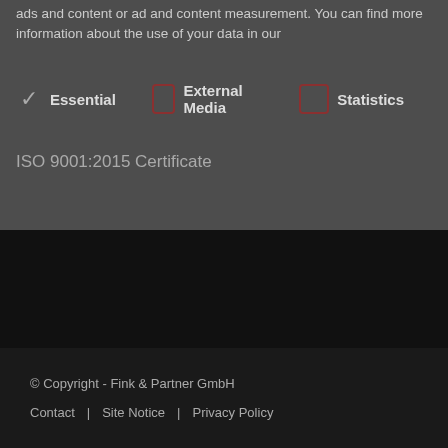ads and content or ad and content measurement. You can find more information about the use of your data in our
Essential  External Media  Statistics
ISO 9001:2015 Certificate
© Copyright - Fink & Partner GmbH
Contact  Site Notice  Privacy Policy